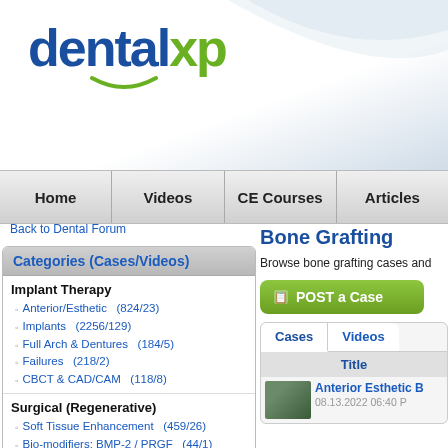[Figure (logo): dentalxp logo with blue 'dental' text, green 'xp' text, and green smile arc underneath]
Home | Videos | CE Courses | Articles
Back to Dental Forum
Categories (Cases/Videos)
Implant Therapy
Anterior/Esthetic  (824/23)
Implants  (2256/129)
Full Arch & Dentures  (184/5)
Failures  (218/2)
CBCT & CAD/CAM  (118/8)
Surgical (Regenerative)
Soft Tissue Enhancement  (459/26)
Bio-modifiers: BMP-2 / PRGF  (44/1)
Bone Grafting  (1009/53)
Sinus Augmentation  (308/27)
Armamentarium  (19/0)
Restorative
Esthetic Therapy (General)  (110/0)
Ceramics/Veneers  (63/2)
Bone Grafting
Browse bone grafting cases and
POST a Case
Cases  Videos
Title
Anterior Esthetic B
08.13.2022 06:40 P